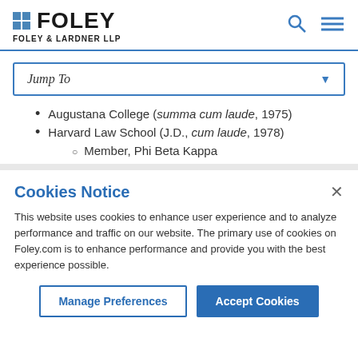FOLEY FOLEY & LARDNER LLP
Jump To
Augustana College (summa cum laude, 1975)
Harvard Law School (J.D., cum laude, 1978)
Member, Phi Beta Kappa
Cookies Notice
This website uses cookies to enhance user experience and to analyze performance and traffic on our website. The primary use of cookies on Foley.com is to enhance performance and provide you with the best experience possible.
Manage Preferences   Accept Cookies